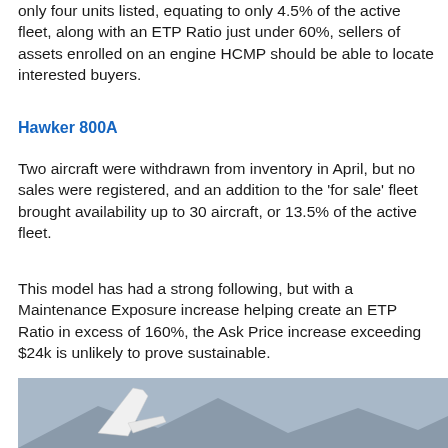only four units listed, equating to only 4.5% of the active fleet, along with an ETP Ratio just under 60%, sellers of assets enrolled on an engine HCMP should be able to locate interested buyers.
Hawker 800A
Two aircraft were withdrawn from inventory in April, but no sales were registered, and an addition to the 'for sale' fleet brought availability up to 30 aircraft, or 13.5% of the active fleet.
This model has had a strong following, but with a Maintenance Exposure increase helping create an ETP Ratio in excess of 160%, the Ask Price increase exceeding $24k is unlikely to prove sustainable.
[Figure (photo): Aircraft tail and wing against mountain and sky background, likely a Hawker 800A business jet]